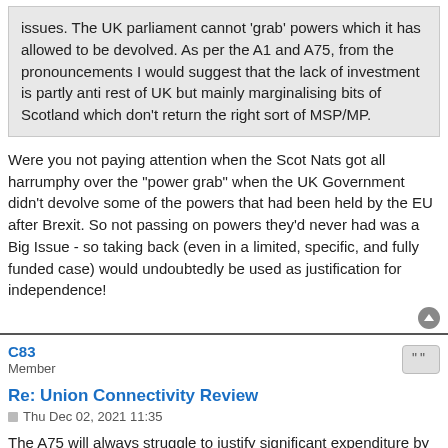issues. The UK parliament cannot 'grab' powers which it has allowed to be devolved. As per the A1 and A75, from the pronouncements I would suggest that the lack of investment is partly anti rest of UK but mainly marginalising bits of Scotland which don't return the right sort of MSP/MP.
Were you not paying attention when the Scot Nats got all harrumphy over the "power grab" when the UK Government didn't devolve some of the powers that had been held by the EU after Brexit. So not passing on powers they'd never had was a Big Issue - so taking back (even in a limited, specific, and fully funded case) would undoubtedly be used as justification for independence!
C83
Member
Re: Union Connectivity Review
Thu Dec 02, 2021 11:35
The A75 will always struggle to justify significant expenditure by the Scottish Government, given it essentially serves only traffic originating from or travelling to parts of Ireland and south-west Scotland.